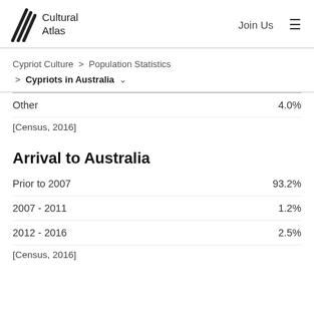Cultural Atlas | Join Us
Cypriot Culture > Population Statistics > Cypriots in Australia
| Category | Value |
| --- | --- |
| Other | 4.0% |
| [Census, 2016] |  |
Arrival to Australia
| Period | Percentage |
| --- | --- |
| Prior to 2007 | 93.2% |
| 2007 - 2011 | 1.2% |
| 2012 - 2016 | 2.5% |
| [Census, 2016] |  |